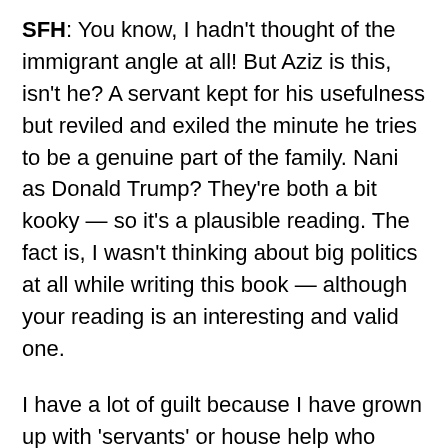SFH: You know, I hadn't thought of the immigrant angle at all! But Aziz is this, isn't he? A servant kept for his usefulness but reviled and exiled the minute he tries to be a genuine part of the family. Nani as Donald Trump? They're both a bit kooky — so it's a plausible reading. The fact is, I wasn't thinking about big politics at all while writing this book — although your reading is an interesting and valid one.
I have a lot of guilt because I have grown up with 'servants' or house help who have all been treated like Aziz — dismissed, disregarded, always the 'other'. My own version of Aziz left us when I was 30 years old — I was a part of